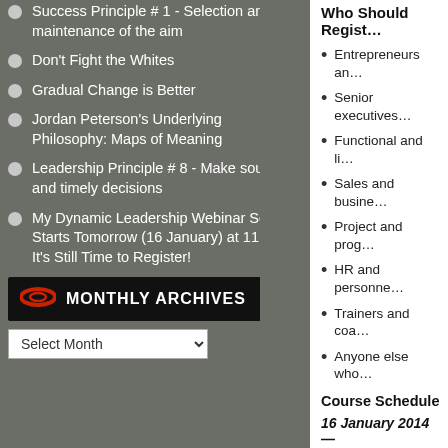Success Principle # 1 - Selection and maintenance of the aim
Don't Fight the Whites
Gradual Change is Better
Jordan Peterson's Underlying Philosophy: Maps of Meaning
Leadership Principle # 8 - Make sound and timely decisions
My Dynamic Leadership Webinar Series Starts Tomorrow (16 January) at 11 AM - It's Still Time to Register!
MONTHLY ARCHIVES
Select Month
Who Should Regist…
Entrepreneurs an…
Senior executives…
Functional and li…
Sales and busine…
Project and prog…
HR and personne…
Trainers and coa…
Anyone else who…
Course Schedule
16 January 2014 —
It's good to sizzle…
Do people follow…